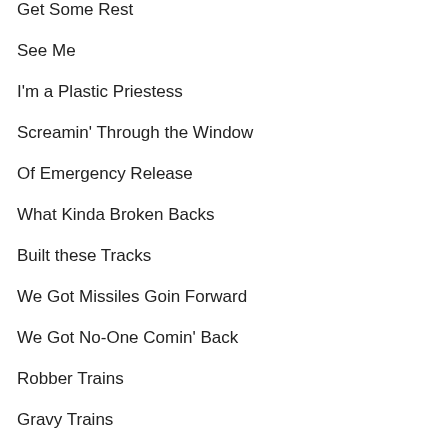Get Some Rest
See Me
I'm a Plastic Priestess
Screamin' Through the Window
Of Emergency Release
What Kinda Broken Backs
Built these Tracks
We Got Missiles Goin Forward
We Got No-One Comin' Back
Robber Trains
Gravy Trains